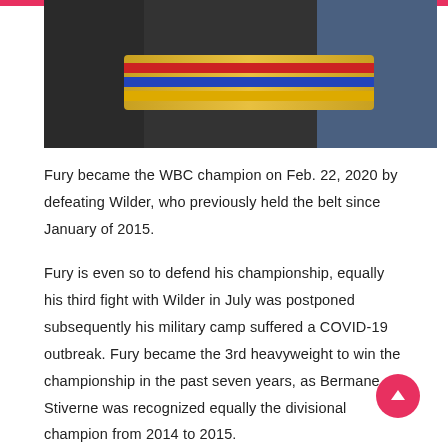[Figure (photo): Group of people holding a colorful WBC championship boxing belt with gold and multicolor stripes (red, blue, yellow). Figures dressed in dark clothing on the left and center, person in blue on the right.]
Fury became the WBC champion on Feb. 22, 2020 by defeating Wilder, who previously held the belt since January of 2015.
Fury is even so to defend his championship, equally his third fight with Wilder in July was postponed subsequently his military camp suffered a COVID-19 outbreak. Fury became the 3rd heavyweight to win the championship in the past seven years, as Bermane Stiverne was recognized equally the divisional champion from 2014 to 2015.
The WBC was formed in 1963, and its dark-green belt